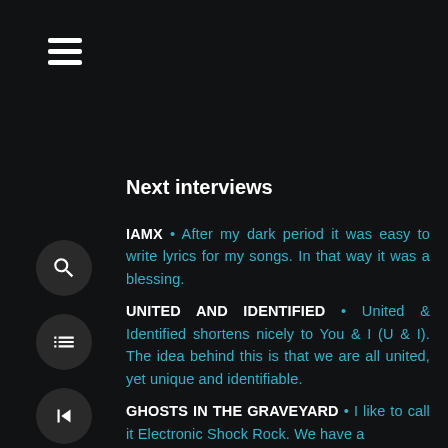[Figure (other): Hamburger menu icon (three horizontal white bars) in top-left area]
[Figure (other): Sidebar icons: search (magnifying glass), list, rewind, fast-forward, and EN language button]
Next interviews
IAMX • After my dark period it was easy to write lyrics for my songs. In that way it was a blessing.
UNITED AND IDENTIFIED • United & Identified shortens nicely to You & I (U & I). The idea behind this is that we are all united, yet unique and identifiable.
GHOSTS IN THE GRAVEYARD • I like to call it Electronic Shock Rock. We have a